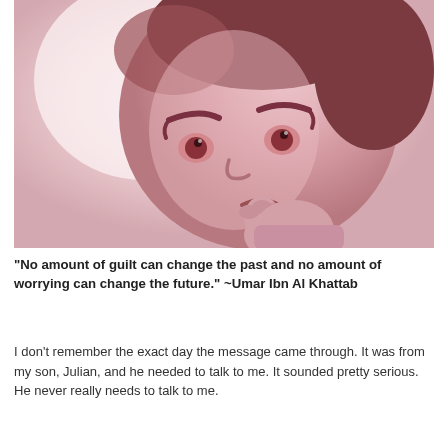[Figure (illustration): A stylized cartoon illustration in muted rose/mauve tones of a child character with a large round head, furrowed brows, worried eyes, and a hand raised to chin in a thoughtful or worried pose.]
“No amount of guilt can change the past and no amount of worrying can change the future.” ~Umar Ibn Al Khattab
I don’t remember the exact day the message came through. It was from my son, Julian, and he needed to talk to me. It sounded pretty serious. He never really needs to talk to me.